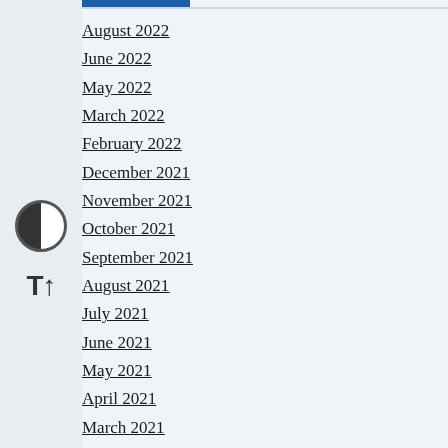August 2022
June 2022
May 2022
March 2022
February 2022
December 2021
November 2021
October 2021
September 2021
August 2021
July 2021
June 2021
May 2021
April 2021
March 2021
February 2021
January 2021